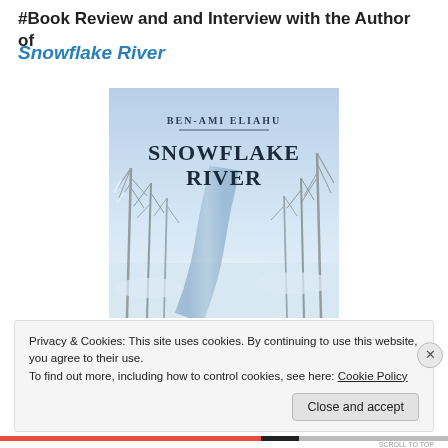#Book Review and and Interview with the Author of
Snowflake River
[Figure (photo): Book cover of 'Snowflake River' by Ben-Ami Eliahu. The cover shows a winter scene with snow-covered trees along a river. The author name 'BEN-AMI ELIAHU' appears at the top, and the title 'SNOWFLAKE RIVER' appears in large text in the center.]
Privacy & Cookies: This site uses cookies. By continuing to use this website, you agree to their use.
To find out more, including how to control cookies, see here: Cookie Policy
Close and accept